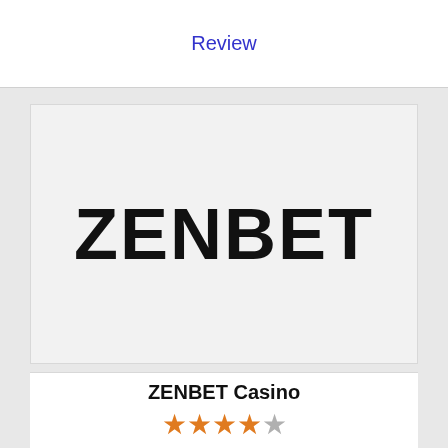Review
[Figure (logo): ZENBET casino logo in large bold black uppercase text on light gray background]
ZENBET Casino
★★★★☆ (4.5 stars out of 5)
100% Welcome Bonus up to 340$ with code casinoslotstop